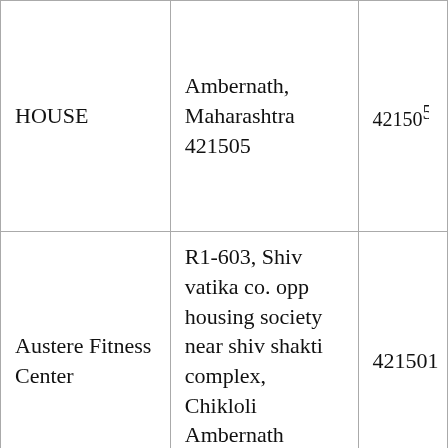| Name | Address | PIN |
| --- | --- | --- |
| HOUSE | Ambernath, Maharashtra 421505 | 42150… |
| Austere Fitness Center | R1-603, Shiv vatika co. opp housing society near shiv shakti complex, Chikloli Ambernath (West, Mumbai, | 421501 |